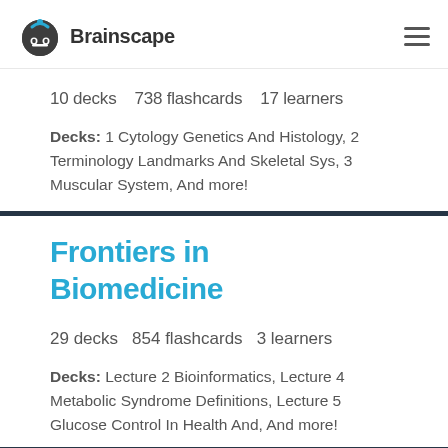Brainscape
10 decks   738 flashcards   17 learners
Decks: 1 Cytology Genetics And Histology, 2 Terminology Landmarks And Skeletal Sys, 3 Muscular System, And more!
Frontiers in Biomedicine
29 decks   854 flashcards   3 learners
Decks: Lecture 2 Bioinformatics, Lecture 4 Metabolic Syndrome Definitions, Lecture 5 Glucose Control In Health And, And more!